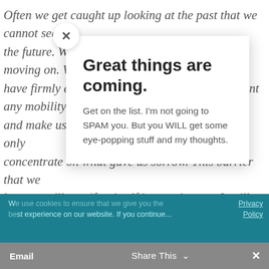Often we get caught up looking at the past that we cannot see the future. We become the barrier in the road to moving on. We have firmly encased our feet in concrete to prevent any mobility and make us stop doing what brings us joy, and only concentrate on what gave us sorrow. This barrier that we become will manifest itself in creating art. It will muddy the paint, crack the glass, drop a huge inkblot on the paper, and make progress difficult. You can't erase the past, no matter how you try and as a residue that smears the work in progress and makes things go awry. We have become the obstacle in the way of progress.
We use cookies to ensure that we give you the best experience on our website. If you continue...
Great things are coming.
Get on the list. I'm not going to SPAM you. But you WILL get some eye-popping stuff and my thoughts.
Email   Share This   ✕